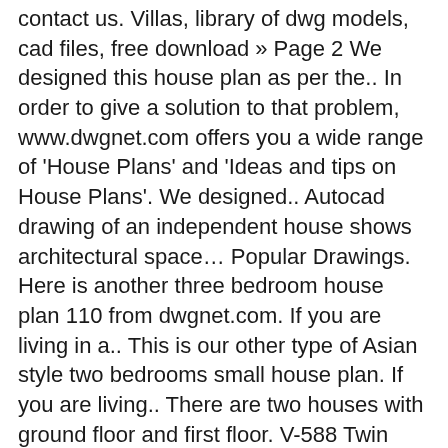contact us. Villas, library of dwg models, cad files, free download » Page 2 We designed this house plan as per the.. In order to give a solution to that problem, www.dwgnet.com offers you a wide range of 'House Plans' and 'Ideas and tips on House Plans'. We designed.. Autocad drawing of an independent house shows architectural space… Popular Drawings. Here is another three bedroom house plan 110 from dwgnet.com. If you are living in a.. This is our other type of Asian style two bedrooms small house plan. If you are living.. There are two houses with ground floor and first floor. V-588 Twin Villa, Each 3 Story with 5 Bedroom, 4 Bath, 3 Big Halls and Garage, Drawing Ready in Autocad DWG File for Instant Download Panorama99.com Buildings 20 … Here is another four-bedroom European and Asian style house plan. Drop by the leasing office to see available floor plans and see Twin Villas. If you are living in an Asian country, (Indian,.. We designed this house plan as.. This is our new Asian type modern house plan. This twin villa drawing specially we